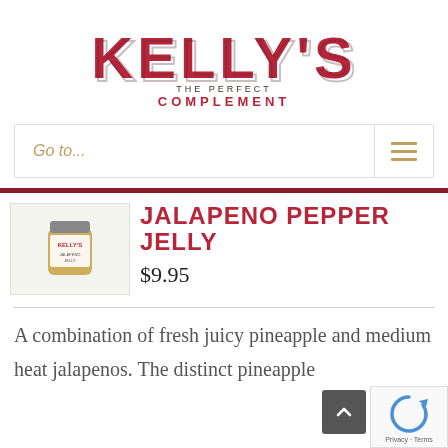[Figure (logo): Kelly's The Perfect Complement logo — large bold text KELLY'S in dark brown/red, tagline THE PERFECT COMPLEMENT in red below]
Go to...
[Figure (photo): Product image of Kelly's Jalapeno Pepper Jelly jar]
JALAPENO PEPPER JELLY
$9.95
A combination of fresh juicy pineapple and medium heat jalapenos. The distinct pineapple